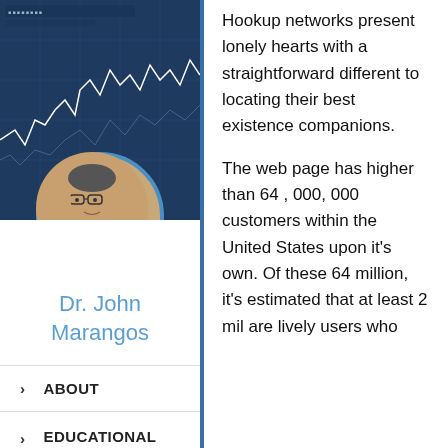[Figure (photo): Stock market chart background with dark blue tones and white line graph]
[Figure (photo): Circular profile photo of Dr. John Marangos, a middle-aged man with glasses wearing a white shirt]
Dr. John Marangos
ABOUT
EDUCATIONAL QUALIFICATIONS
Hookup networks present lonely hearts with a straightforward different to locating their best existence companions.
The web page has higher than 64 , 000, 000 customers within the United States upon it's own. Of these 64 million, it's estimated that at least 2 mil are lively users who